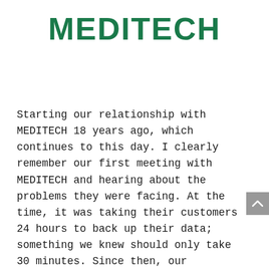MEDITECH
Starting our relationship with MEDITECH 18 years ago, which continues to this day. I clearly remember our first meeting with MEDITECH and hearing about the problems they were facing. At the time, it was taking their customers 24 hours to back up their data; something we knew should only take 30 minutes. Since then, our organisations have been on a fascinating journey together, working with hospitals across the globe to guarantee that their MEDITECH environment is fully protected and recoverable